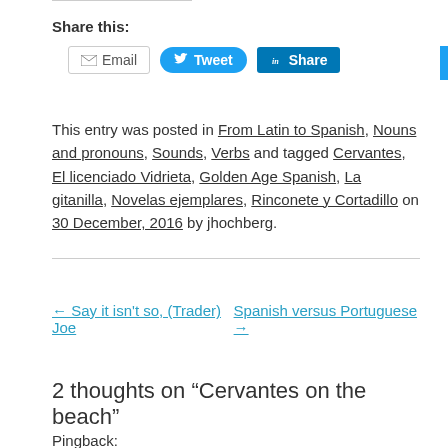Share this:
Email | Tweet | Share
This entry was posted in From Latin to Spanish, Nouns and pronouns, Sounds, Verbs and tagged Cervantes, El licenciado Vidrieta, Golden Age Spanish, La gitanilla, Novelas ejemplares, Rinconete y Cortadillo on 30 December, 2016 by jhochberg.
← Say it isn't so, (Trader) Joe   Spanish versus Portuguese →
2 thoughts on “Cervantes on the beach”
Pingback: